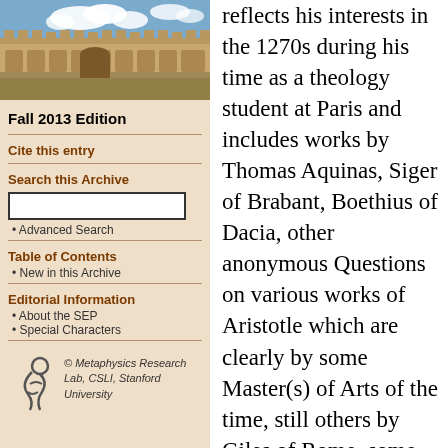[Figure (photo): Photograph of a university building (sandstone Gothic architecture) with blue sky and clouds]
Fall 2013 Edition
Cite this entry
Search this Archive
Advanced Search
Table of Contents
New in this Archive
Editorial Information
About the SEP
Special Characters
[Figure (logo): Metaphysics Research Lab logo — stylized figure]
© Metaphysics Research Lab, CSLI, Stanford University
reflects his interests in the 1270s during his time as a theology student at Paris and includes works by Thomas Aquinas, Siger of Brabant, Boethius of Dacia, other anonymous Questions on various works of Aristotle which are clearly by some Master(s) of Arts of the time, still others by Giles of Rome, some extracts from Albert the Great and from Henry of Ghent, as well as other purely theological writings (Duin, 1959; Wippel, 2001, 360–67; and now an exhaustive study by Aiello-Wielockx, 2008). An anonymous set of Questions on Bks. I–II of Aristotle's De